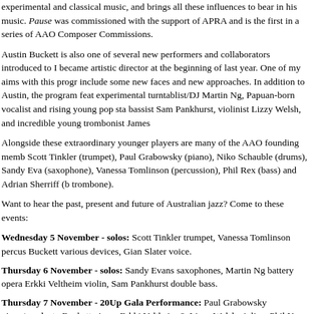experimental and classical music, and brings all these influences to bear in his music. Pause was commissioned with the support of APRA and is the first in a series of AAO Composer Commissions.
Austin Buckett is also one of several new performers and collaborators introduced to I became artistic director at the beginning of last year. One of my aims with this progr include some new faces and new approaches. In addition to Austin, the program feat experimental turntablist/DJ Martin Ng, Papuan-born vocalist and rising young pop sta bassist Sam Pankhurst, violinist Lizzy Welsh, and incredible young trombonist James
Alongside these extraordinary younger players are many of the AAO founding memb Scott Tinkler (trumpet), Paul Grabowsky (piano), Niko Schauble (drums), Sandy Eva (saxophone), Vanessa Tomlinson (percussion), Phil Rex (bass) and Adrian Sherriff (b trombone).
Want to hear the past, present and future of Australian jazz? Come to these events:
Wednesday 5 November - solos: Scott Tinkler trumpet, Vanessa Tomlinson percus Buckett various devices, Gian Slater voice.
Thursday 6 November - solos: Sandy Evans saxophones, Martin Ng battery opera Erkki Veltheim violin, Sam Pankhurst double bass.
Thursday 7 November - 20Up Gala Performance: Paul Grabowsky piano/conducto Buckett piano; Erkki Veltheim & Lizzy Welsh violins; Phil Noy, Lachlan Davidson, Sa Tony Hicks, Mirko Guerrini saxophones; Scott Tinkler, Eugene Ball, Paul Williamson Adrian Sherriff & James Macaulay trombones; Geoff Hughes guitars; Peter Knight electronics/trumpet; Martin Ng turntables; Vanessa Tomlinson percussion; Phil Rex &